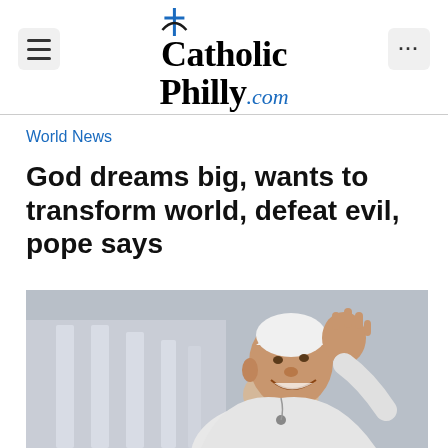CatholicPhilly.com
World News
God dreams big, wants to transform world, defeat evil, pope says
[Figure (photo): Pope Francis smiling and waving, wearing white papal vestments and zucchetto, photographed outdoors with columns in background]